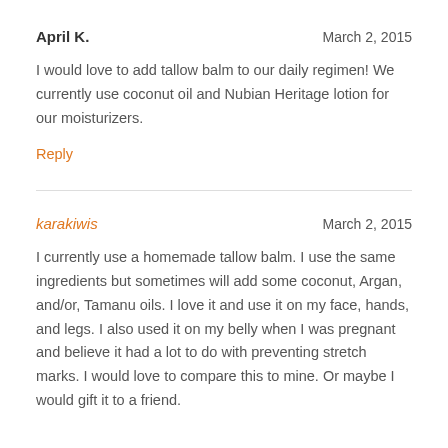April K.    March 2, 2015
I would love to add tallow balm to our daily regimen! We currently use coconut oil and Nubian Heritage lotion for our moisturizers.
Reply
karakiwis    March 2, 2015
I currently use a homemade tallow balm. I use the same ingredients but sometimes will add some coconut, Argan, and/or, Tamanu oils. I love it and use it on my face, hands, and legs. I also used it on my belly when I was pregnant and believe it had a lot to do with preventing stretch marks. I would love to compare this to mine. Or maybe I would gift it to a friend.